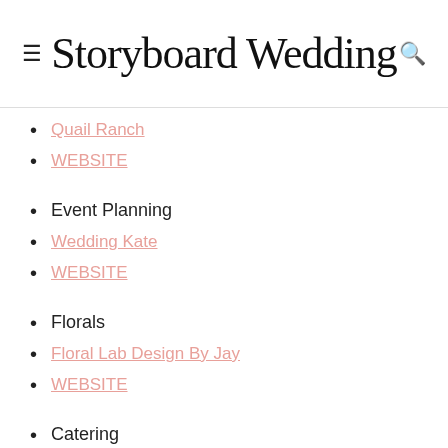Storyboard Wedding
Quail Ranch
WEBSITE
Event Planning
Wedding Kate
WEBSITE
Florals
Floral Lab Design By Jay
WEBSITE
Catering
Command Performance Catering